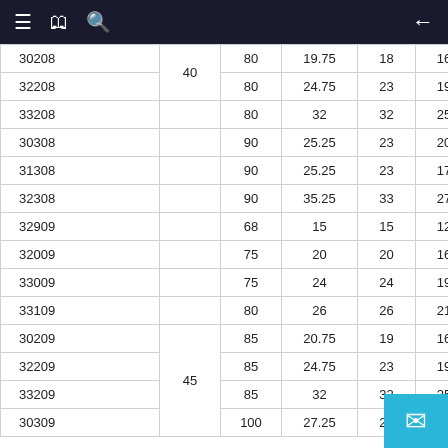Navigation header with menu, bookmark, search icons and back arrow
|  |  |  |  |  |  |
| --- | --- | --- | --- | --- | --- |
| 30208 | 40 | 80 | 19.75 | 18 | 16 |
| 32208 | 40 | 80 | 24.75 | 23 | 19 |
| 33208 |  | 80 | 32 | 32 | 25 |
| 30308 |  | 90 | 25.25 | 23 | 20 |
| 31308 |  | 90 | 25.25 | 23 | 17 |
| 32308 |  | 90 | 35.25 | 33 | 27 |
| 32909 |  | 68 | 15 | 15 | 12 |
| 32009 |  | 75 | 20 | 20 | 16 |
| 33009 |  | 75 | 24 | 24 | 19 |
| 33109 |  | 80 | 26 | 26 | 21 |
| 30209 | 45 | 85 | 20.75 | 19 | 16 |
| 32209 | 45 | 85 | 24.75 | 23 | 19 |
| 33209 |  | 85 | 32 | 32 | 25 |
| 30309 |  | 100 | 27.25 | 25 |  |